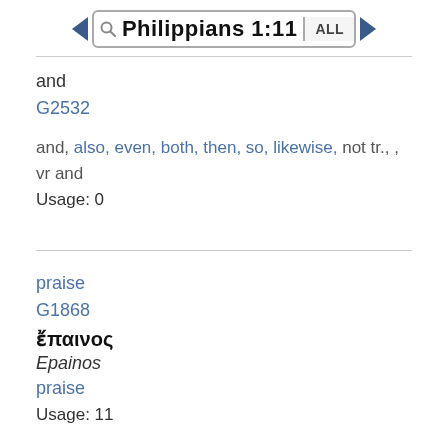Philippians 1:11
and
G2532
and, also, even, both, then, so, likewise, not tr., , vr and
Usage: 0
praise
G1868
ἔπαινος
Epainos
praise
Usage: 11